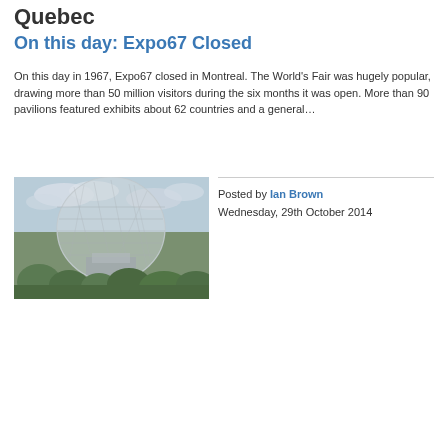Quebec
On this day: Expo67 Closed
On this day in 1967, Expo67 closed in Montreal. The World's Fair was hugely popular, drawing more than 50 million visitors during the six months it was open. More than 90 pavilions featured exhibits about 62 countries and a general…
[Figure (photo): Photo of the Expo67 geodesic dome structure (Biosphere) in Montreal, with trees in the foreground and a cloudy sky.]
Posted by Ian Brown
Wednesday, 29th October 2014